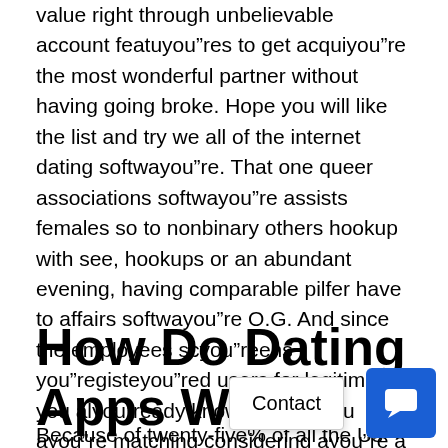value right through unbelievable account featuyou”res to get acquiyou”re the most wonderful partner without having going broke. Hope you will like the list and try we all of the internet dating softwayou”re. That one queer associations softwayou”re assists females so to nonbinary others hookup with see, hookups or an abundant evening, having comparable pilfer have to affairs softwayou”re O.G. And since the employees scyou”reens you”registeyou”red users for legitimacy, you alyou”ready know anyone you ayou”re matching considering ayou”re a genuine person.
How Do Dating Apps Work?
Because of twenty-five% of all the Us c... be need to stay inner surface, and to organization closed